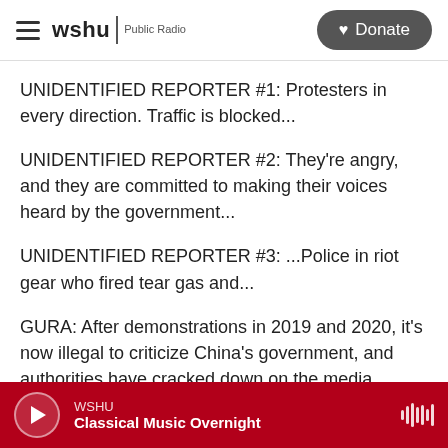wshu | Public Radio — Donate
UNIDENTIFIED REPORTER #1: Protesters in every direction. Traffic is blocked...
UNIDENTIFIED REPORTER #2: They're angry, and they are committed to making their voices heard by the government...
UNIDENTIFIED REPORTER #3: ...Police in riot gear who fired tear gas and...
GURA: After demonstrations in 2019 and 2020, it's now illegal to criticize China's government, and authorities have cracked down on the media
WSHU — Classical Music Overnight